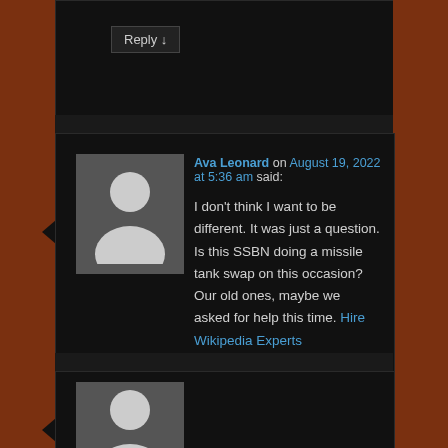Reply ↓
[Figure (illustration): User avatar placeholder with silhouette person icon on dark gray background]
Ava Leonard on August 19, 2022 at 5:36 am said:
I don't think I want to be different. It was just a question. Is this SSBN doing a missile tank swap on this occasion? Our old ones, maybe we asked for help this time. Hire Wikipedia Experts
Reply ↓
[Figure (illustration): User avatar placeholder with silhouette person icon on dark gray background]